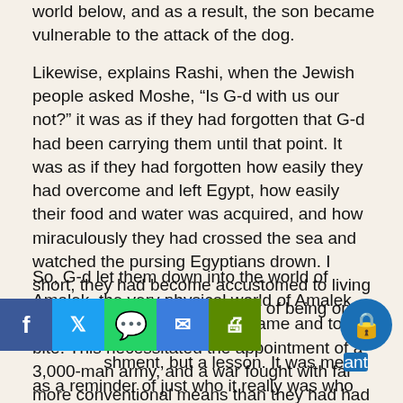world below, and as a result, the son became vulnerable to the attack of the dog.
Likewise, explains Rashi, when the Jewish people asked Moshe, “Is G-d with us our not?” it was as if they had forgotten that G-d had been carrying them until that point. It was as if they had forgotten how easily they had overcome and left Egypt, how easily their food and water was acquired, and how miraculously they had crossed the sea and watched the pursing Egyptians drown. I short, they had become accustomed to living in the safe supernatural reality of being on G-d’s shoulders.
So, G-d let them down into the world of Amalek, the very physical world of Amalek, and all of a sudden, the dog came and took a bite. This necessitated the appointment of a 3,000-man army, and a war fought with far more conventional means than they had had to employ until that time. Even Moshe Rabbeinu had to fend off exhaustion do his part to win the war.
t     b   a  shment, but a lesson. It was meant as a reminder of just who it really was who took care of the